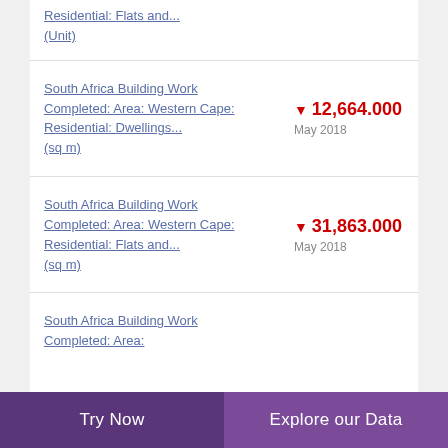Residential: Flats and... (Unit)
South Africa Building Work Completed: Area: Western Cape: Residential: Dwellings... (sq m) — ▼ 12,664.000 May 2018
South Africa Building Work Completed: Area: Western Cape: Residential: Flats and... (sq m) — ▼ 31,863.000 May 2018
South Africa Building Work Completed: Area:
Try Now | Explore our Data